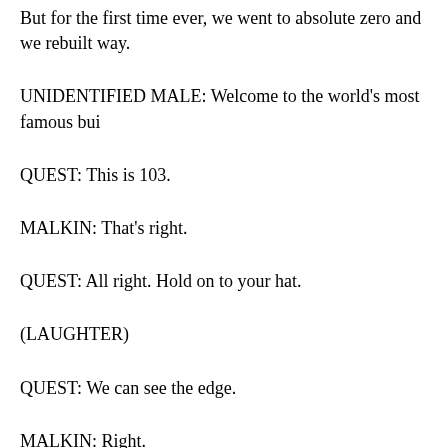But for the first time ever, we went to absolute zero and we rebuilt way.
UNIDENTIFIED MALE: Welcome to the world's most famous bui
QUEST: This is 103.
MALKIN: That's right.
QUEST: All right. Hold on to your hat.
(LAUGHTER)
QUEST: We can see the edge.
MALKIN: Right.